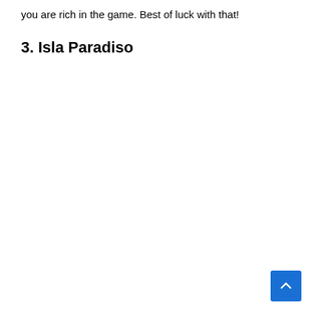you are rich in the game. Best of luck with that!
3. Isla Paradiso